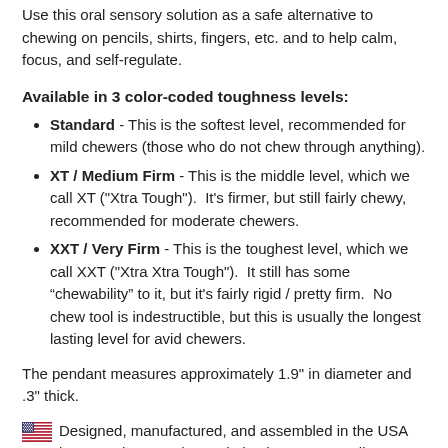Use this oral sensory solution as a safe alternative to chewing on pencils, shirts, fingers, etc. and to help calm, focus, and self-regulate.
Available in 3 color-coded toughness levels:
Standard - This is the softest level, recommended for mild chewers (those who do not chew through anything).
XT / Medium Firm - This is the middle level, which we call XT ("Xtra Tough"). It's firmer, but still fairly chewy, recommended for moderate chewers.
XXT / Very Firm - This is the toughest level, which we call XXT ("Xtra Xtra Tough"). It still has some “chewability” to it, but it's fairly rigid / pretty firm. No chew tool is indestructible, but this is usually the longest lasting level for avid chewers.
The pendant measures approximately 1.9" in diameter and .3" thick.
Designed, manufactured, and assembled in the USA by ARK Therapeutic. Made by the FDA-compliant, US-based...